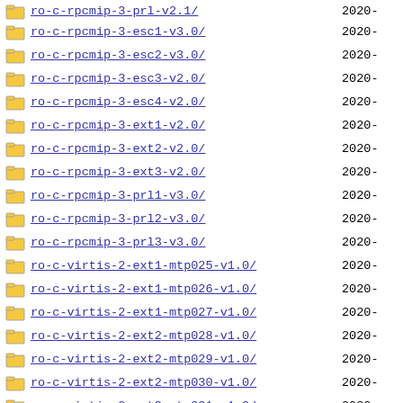ro-c-rpcmip-3-esc1-v3.0/  2020-
ro-c-rpcmip-3-esc2-v3.0/  2020-
ro-c-rpcmip-3-esc3-v2.0/  2020-
ro-c-rpcmip-3-esc4-v2.0/  2020-
ro-c-rpcmip-3-ext1-v2.0/  2020-
ro-c-rpcmip-3-ext2-v2.0/  2020-
ro-c-rpcmip-3-ext3-v2.0/  2020-
ro-c-rpcmip-3-prl1-v3.0/  2020-
ro-c-rpcmip-3-prl2-v3.0/  2020-
ro-c-rpcmip-3-prl3-v3.0/  2020-
ro-c-virtis-2-ext1-mtp025-v1.0/  2020-
ro-c-virtis-2-ext1-mtp026-v1.0/  2020-
ro-c-virtis-2-ext1-mtp027-v1.0/  2020-
ro-c-virtis-2-ext2-mtp028-v1.0/  2020-
ro-c-virtis-2-ext2-mtp029-v1.0/  2020-
ro-c-virtis-2-ext2-mtp030-v1.0/  2020-
ro-c-virtis-2-ext3-mtp031-v1.0/  2020-